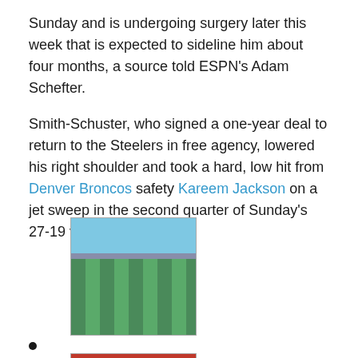Sunday and is undergoing surgery later this week that is expected to sideline him about four months, a source told ESPN's Adam Schefter.
Smith-Schuster, who signed a one-year deal to return to the Steelers in free agency, lowered his right shoulder and took a hard, low hit from Denver Broncos safety Kareem Jackson on a jet sweep in the second quarter of Sunday's 27-19 victory.
[Figure (photo): Football stadium photo showing players on the field with crowd in background]
[Figure (photo): Kansas City Chiefs player wearing red jersey number 15]